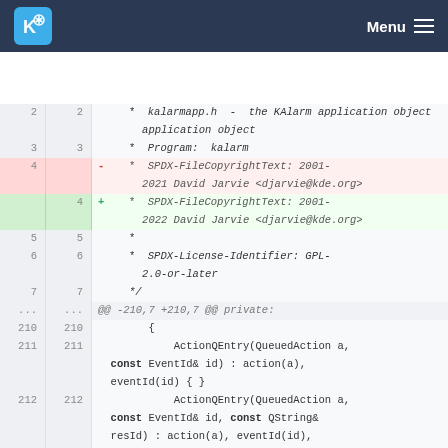KDE Menu
2  2     *  kalarmapp.h  -  the KAlarm application object
3  3     *  Program:  kalarm
4  -  *  SPDX-FileCopyrightText: 2001-2021 David Jarvie <djarvie@kde.org>
4  +  *  SPDX-FileCopyrightText: 2001-2022 David Jarvie <djarvie@kde.org>
5  5     *
6  6     *  SPDX-License-Identifier: GPL-2.0-or-later
7  7     */
...  ...  @@ -210,7 +210,7 @@ private:
210  210      {
211  211          ActionQEntry(QueuedAction a, const EventId& id) : action(a), eventId(id) { }
212  212          ActionQEntry(QueuedAction a, const EventId& id, const QString& resId) : action(a), eventId(id), resourceId(resId) { }